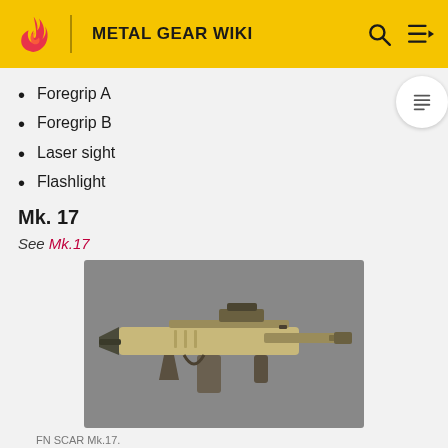METAL GEAR WIKI
Foregrip A
Foregrip B
Laser sight
Flashlight
Mk. 17
See Mk.17
[Figure (photo): FN SCAR Mk.17 assault rifle on grey background]
FN SCAR Mk.17.
A powerful, lightweight weapon developed for US Special Operations Command. The FN USA Mk. 17 SCAR is used by